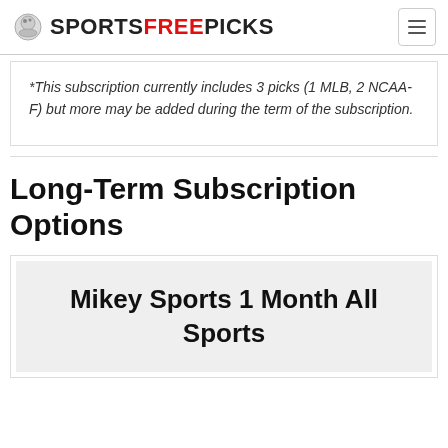SPORTSFREEPICKS
*This subscription currently includes 3 picks (1 MLB, 2 NCAA-F) but more may be added during the term of the subscription.
Long-Term Subscription Options
Mikey Sports 1 Month All Sports